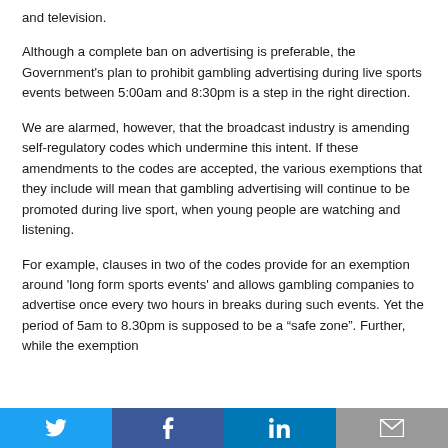and television.
Although a complete ban on advertising is preferable, the Government's plan to prohibit gambling advertising during live sports events between 5:00am and 8:30pm is a step in the right direction.
We are alarmed, however, that the broadcast industry is amending self-regulatory codes which undermine this intent. If these amendments to the codes are accepted, the various exemptions that they include will mean that gambling advertising will continue to be promoted during live sport, when young people are watching and listening.
For example, clauses in two of the codes provide for an exemption around 'long form sports events' and allows gambling companies to advertise once every two hours in breaks during such events. Yet the period of 5am to 8.30pm is supposed to be a “safe zone”. Further, while the exemption
Twitter | Facebook | LinkedIn | Email